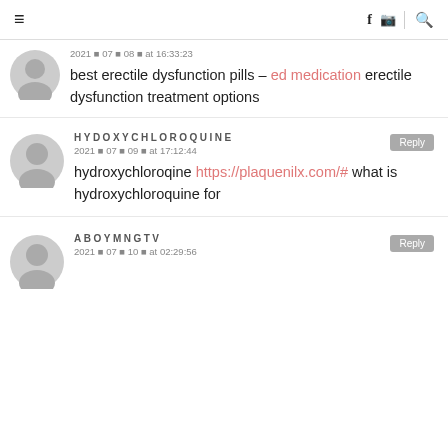☰  f  🎥  🔍
2021 ⁰ 07 ⁰ 08 ⁰ at 16:33:23
best erectile dysfunction pills – ed medication erectile dysfunction treatment options
HYDOXYCHLOROQUINE
2021 ⁰ 07 ⁰ 09 ⁰ at 17:12:44
hydroxychloroqine https://plaquenilx.com/# what is hydroxychloroquine for
ABOYMNGTV
2021 ⁰ 07 ⁰ 10 ⁰ at 02:29:56